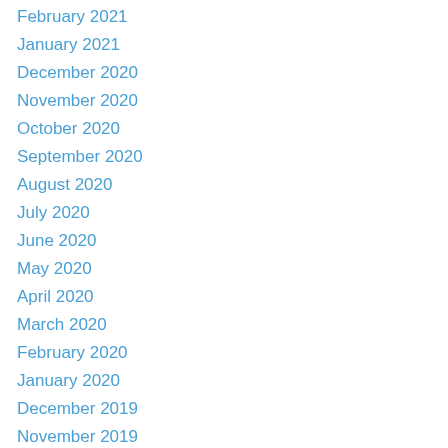February 2021
January 2021
December 2020
November 2020
October 2020
September 2020
August 2020
July 2020
June 2020
May 2020
April 2020
March 2020
February 2020
January 2020
December 2019
November 2019
October 2019
September 2019
August 2019
July 2019